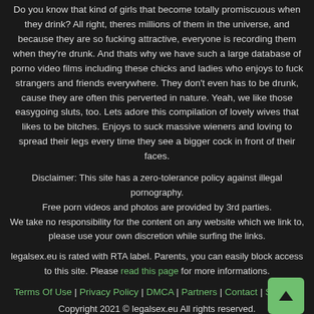Do you know that kind of girls that become totally promiscuous when they drink? All right, theres millions of them in the universe, and because they are so fucking attractive, everyone is recording them when they're drunk. And thats why we have such a large database of porno video films including these chicks and ladies who enjoys to fuck strangers and friends everywhere. They don't even has to be drunk, cause they are often this perverted in nature. Yeah, we like those easygoing sluts, too. Lets adore this compilation of lovely wives that likes to be bitches. Enjoys to suck massive wieners and loving to spread their legs every time they see a bigger cock in front of their faces.
Disclaimer: This site has a zero-tolerance policy against illegal pornography. Free porn videos and photos are provided by 3rd parties. We take no responsibility for the content on any website which we link to, please use your own discretion while surfing the links.
legalsex.eu is rated with RTA label. Parents, you can easily block access to this site. Please read this page for more informations.
Terms Of Use | Privacy Policy | DMCA | Partners | Contact | Sitemap
Copyright 2021 © legalsex.eu All rights reserved.